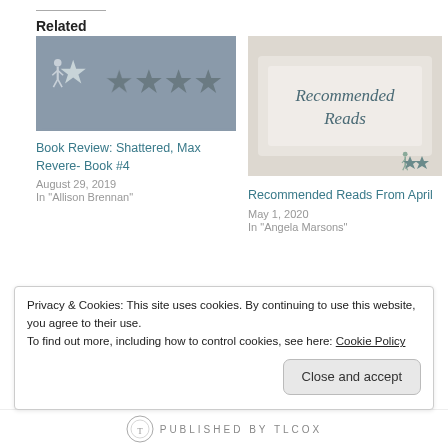Related
[Figure (illustration): Book review thumbnail with star rating (1 star out of 5) on grey background]
Book Review: Shattered, Max Revere- Book #4
August 29, 2019
In "Allison Brennan"
[Figure (photo): Photo of stacked books with 'Recommended Reads' text]
Recommended Reads From April
May 1, 2020
In "Angela Marsons"
[Figure (illustration): Book review thumbnail with star rating on grey background]
Book Review: Poisonous, Max Revere- Book #3
Privacy & Cookies: This site uses cookies. By continuing to use this website, you agree to their use.
To find out more, including how to control cookies, see here: Cookie Policy
PUBLISHED BY TLCOX